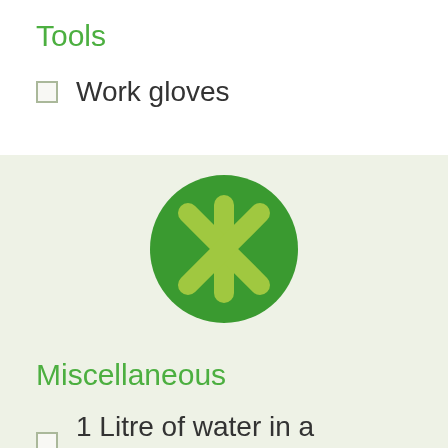Tools
Work gloves
[Figure (logo): Green circle with a yellow-green asterisk/snowflake symbol in the center, on a light green background]
Miscellaneous
1 Litre of water in a reusable bottle
Lunch